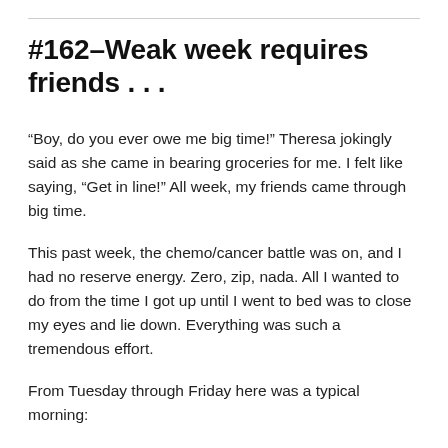#162–Weak week requires friends . . .
“Boy, do you ever owe me big time!” Theresa jokingly said as she came in bearing groceries for me. I felt like saying, “Get in line!” All week, my friends came through big time.
This past week, the chemo/cancer battle was on, and I had no reserve energy. Zero, zip, nada. All I wanted to do from the time I got up until I went to bed was to close my eyes and lie down. Everything was such a tremendous effort.
From Tuesday through Friday here was a typical morning: